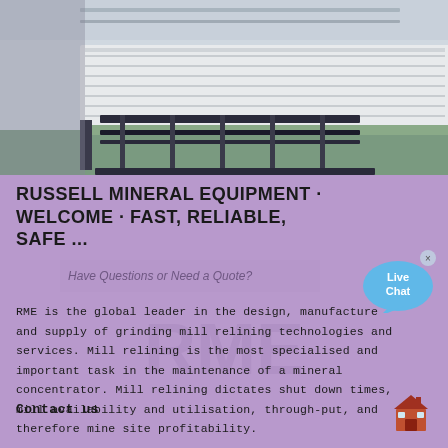[Figure (photo): Industrial grinding mill relining equipment in a factory or mine setting, with the AMC logo (orange hexagon with AMC letters) visible in the upper right area of the photo.]
RUSSELL MINERAL EQUIPMENT · WELCOME · FAST, RELIABLE, SAFE ...
RME is the global leader in the design, manufacture and supply of grinding mill relining technologies and services. Mill relining is the most specialised and important task in the maintenance of a mineral concentrator. Mill relining dictates shut down times, mill availability and utilisation, through-put, and therefore mine site profitability.
Contact us